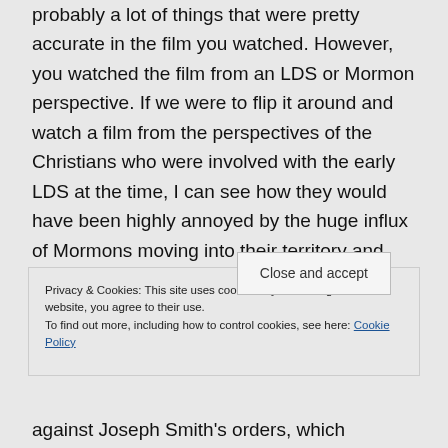probably a lot of things that were pretty accurate in the film you watched. However, you watched the film from an LDS or Mormon perspective. If we were to flip it around and watch a film from the perspectives of the Christians who were involved with the early LDS at the time, I can see how they would have been highly annoyed by the huge influx of Mormons moving into their territory and proclaiming they are the one true church. I'll bet some
Privacy & Cookies: This site uses cookies. By continuing to use this website, you agree to their use.
To find out more, including how to control cookies, see here: Cookie Policy
Close and accept
against Joseph Smith's orders, which